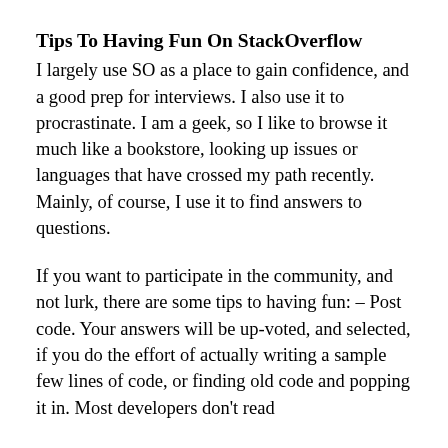Tips To Having Fun On StackOverflow
I largely use SO as a place to gain confidence, and a good prep for interviews. I also use it to procrastinate. I am a geek, so I like to browse it much like a bookstore, looking up issues or languages that have crossed my path recently. Mainly, of course, I use it to find answers to questions.
If you want to participate in the community, and not lurk, there are some tips to having fun: – Post code. Your answers will be up-voted, and selected, if you do the effort of actually writing a sample few lines of code, or finding old code and popping it in. Most developers don't read